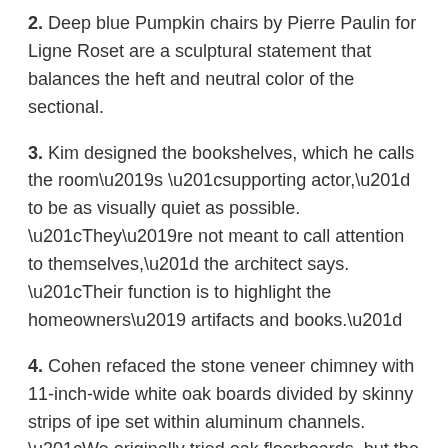2. Deep blue Pumpkin chairs by Pierre Paulin for Ligne Roset are a sculptural statement that balances the heft and neutral color of the sectional.
3. Kim designed the bookshelves, which he calls the room’s “supporting actor,” to be as visually quiet as possible. “They’re not meant to call attention to themselves,” the architect says. “Their function is to highlight the homeowners’ artifacts and books.”
4. Cohen refaced the stone veneer chimney with 11-inch-wide white oak boards divided by skinny strips of ipe set within aluminum channels. “We originally tried oak floorboards, but the effect was too busy,” Cohen says. “This has the same organic texture, but looks much calmer.”
5. Thomas D. Mangelsen’s limited-edition photograph of a